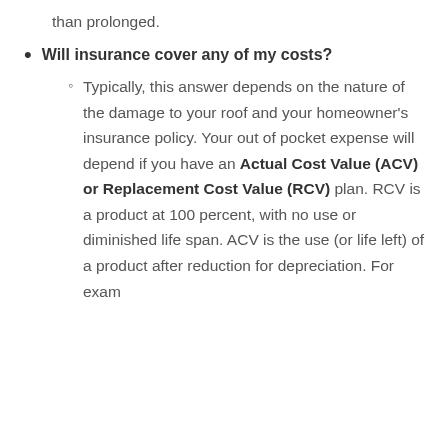than prolonged.
Will insurance cover any of my costs?
Typically, this answer depends on the nature of the damage to your roof and your homeowner's insurance policy. Your out of pocket expense will depend if you have an Actual Cost Value (ACV) or Replacement Cost Value (RCV) plan. RCV is a product at 100 percent, with no use or diminished life span. ACV is the use (or life left) of a product after reduction for depreciation. For exam...